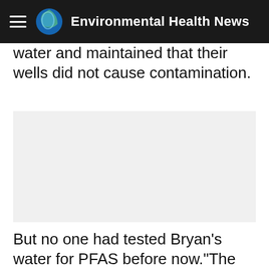Environmental Health News
water and maintained that their wells did not cause contamination.
[Figure (other): Advertisement or embedded media placeholder (light gray box)]
But no one had tested Bryan’s water for PFAS before now.“The DEP isn’t checking for this stuff because they don’t want to find it,” Latkanich said. “I’ve been trying to figure out what’s wrong with my water since 2013. They knew this stuff